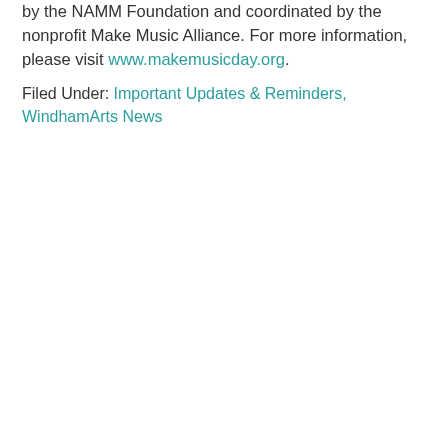by the NAMM Foundation and coordinated by the nonprofit Make Music Alliance. For more information, please visit www.makemusicday.org.
Filed Under: Important Updates & Reminders, WindhamArts News